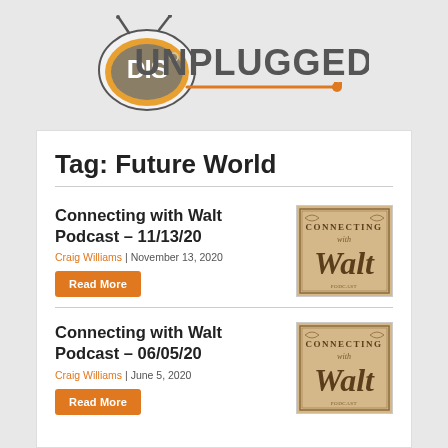[Figure (logo): DIS Unplugged logo with orange TV icon and bold gray text]
Tag: Future World
Connecting with Walt Podcast – 11/13/20
Craig Williams | November 13, 2020
[Figure (illustration): Connecting with Walt podcast thumbnail image with ornate lettering]
Read More
Connecting with Walt Podcast – 06/05/20
Craig Williams | June 5, 2020
[Figure (illustration): Connecting with Walt podcast thumbnail image with ornate lettering]
Read More